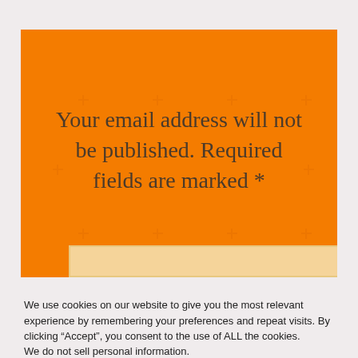[Figure (other): Orange banner with plus/cross pattern background and centered text reading 'Your email address will not be published. Required fields are marked *', with a light orange input bar at the bottom]
We use cookies on our website to give you the most relevant experience by remembering your preferences and repeat visits. By clicking “Accept”, you consent to the use of ALL the cookies.
We do not sell personal information.
Cookie Settings
Accept